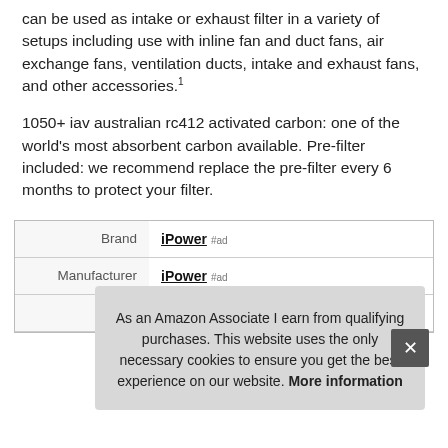can be used as intake or exhaust filter in a variety of setups including use with inline fan and duct fans, air exchange fans, ventilation ducts, intake and exhaust fans, and other accessories.1
1050+ iav australian rc412 activated carbon: one of the world's most absorbent carbon available. Pre-filter included: we recommend replace the pre-filter every 6 months to protect your filter.
|  |  |
| --- | --- |
| Brand | iPower #ad |
| Manufacturer | iPower #ad |
| Width | 10.5 Inches |
As an Amazon Associate I earn from qualifying purchases. This website uses the only necessary cookies to ensure you get the best experience on our website. More information